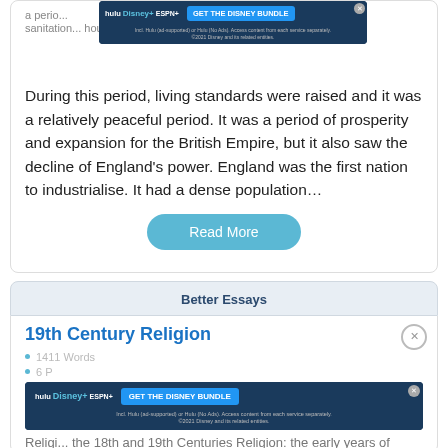sanitation... housing.
During this period, living standards were raised and it was a relatively peaceful period. It was a period of prosperity and expansion for the British Empire, but it also saw the decline of England's power. England was the first nation to industrialise. It had a dense population…
Read More
Better Essays
19th Century Religion
1411 Words
6 Pages
Religion... the 18th and 19th Centuries Religion: the early years of